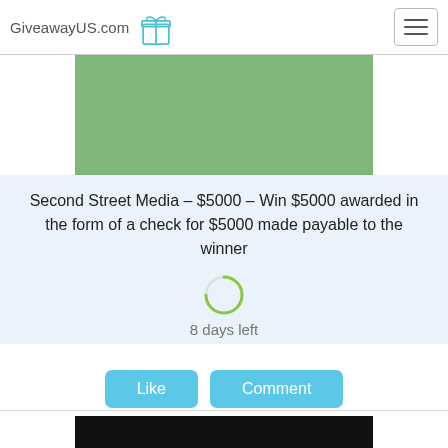GiveawayUS.com
[Figure (illustration): Green rectangle placeholder image]
Second Street Media – $5000 – Win $5000 awarded in the form of a check for $5000 made payable to the winner
8 days left